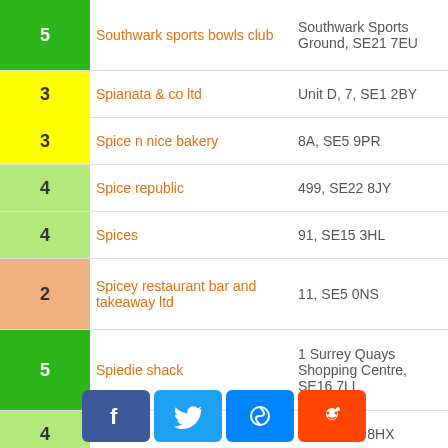| Score | Name | Address |
| --- | --- | --- |
| 5 | Southwark sports bowls club | Southwark Sports Ground, SE21 7EU |
| 3 | Spianata & co ltd | Unit D, 7, SE1 2BY |
| 3 | Spice n nice bakery | 8A, SE5 9PR |
| 4 | Spice republic | 499, SE22 8JY |
| 4 | Spices | 91, SE15 3HL |
| 2 | Spicey restaurant bar and takeaway ltd | 11, SE5 0NS |
| 5 | Spiedie shack | 1 Surrey Quays Shopping Centre, SE16 7LL |
| 4 | Spinach | 161, SE22 8HX |
| 5 | Spit & sawdust | 21, SE1 4AL |
| 5 | Sporting (obscured) | Jamilola Taylor Centre, 1, SE15 6DR |